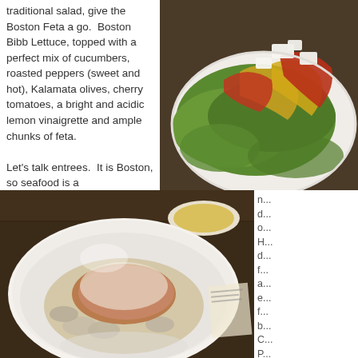traditional salad, give the Boston Feta a go. Boston Bibb Lettuce, topped with a perfect mix of cucumbers, roasted peppers (sweet and hot), Kalamata olives, cherry tomatoes, a bright and acidic lemon vinaigrette and ample chunks of feta.

Let's talk entrees. It is Boston, so seafood is a
[Figure (photo): Close-up photo of a salad with green Boston Bibb lettuce, roasted red and yellow peppers, chunks of white feta cheese, on a white plate on a wooden table.]
[Figure (photo): Photo of a white bowl containing pasta or seafood dish with clams and a creamy sauce, accompanied by small side dishes on a wooden table.]
must. d... o... H... d... f... a... e... f... b... C... P... d...